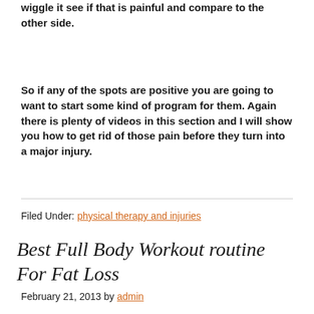wiggle it see if that is painful and compare to the other side.
So if any of the spots are positive you are going to want to start some kind of program for them. Again there is plenty of videos in this section and I will show you how to get rid of those pain before they turn into a major injury.
Filed Under: physical therapy and injuries
Best Full Body Workout routine For Fat Loss
February 21, 2013 by admin